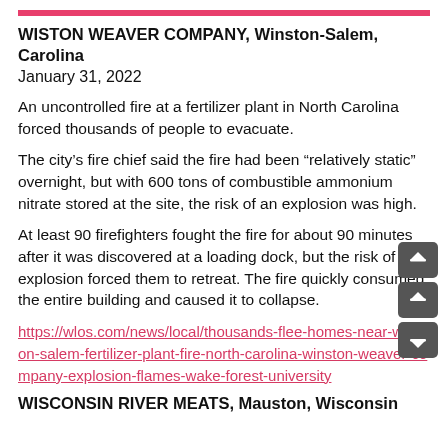WISTON WEAVER COMPANY, Winston-Salem, Carolina
January 31, 2022
An uncontrolled fire at a fertilizer plant in North Carolina forced thousands of people to evacuate.
The city’s fire chief said the fire had been “relatively static” overnight, but with 600 tons of combustible ammonium nitrate stored at the site, the risk of an explosion was high.
At least 90 firefighters fought the fire for about 90 minutes after it was discovered at a loading dock, but the risk of an explosion forced them to retreat. The fire quickly consumed the entire building and caused it to collapse.
https://wlos.com/news/local/thousands-flee-homes-near-winston-salem-fertilizer-plant-fire-north-carolina-winston-weaver-company-explosion-flames-wake-forest-university
WISCONSIN RIVER MEATS, Mauston, Wisconsin